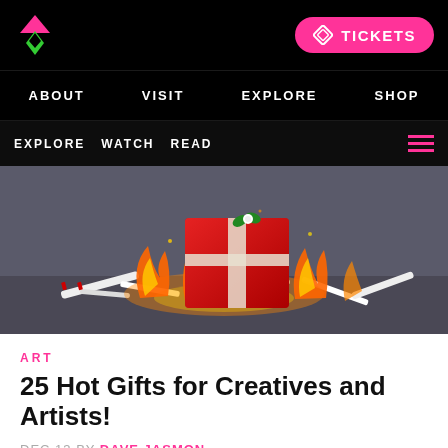MW Logo | TICKETS button
ABOUT  VISIT  EXPLORE  SHOP
EXPLORE  WATCH  READ  [hamburger menu]
[Figure (photo): A red gift box wrapped with ribbon on fire, surrounded by burning wrapping paper and ribbon scraps on a dark surface.]
ART
25 Hot Gifts for Creatives and Artists!
DEC 13 BY DAVE JASMON